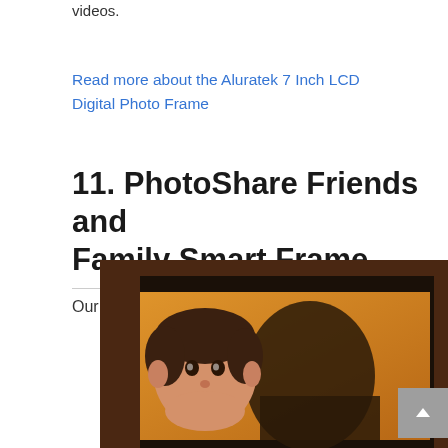videos.
Read more about the Aluratek 7 Inch LCD Digital Photo Frame
11. PhotoShare Friends and Family Smart Frame
Our rating: 8 / 10
[Figure (photo): PhotoShare Friends and Family Smart Frame — a digital photo frame with dark brown wooden border displaying a photo of a baby with an adult, set against orange/warm background]